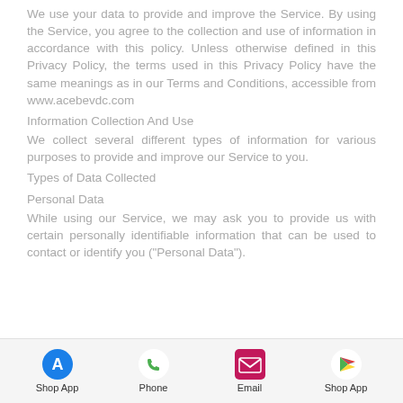We use your data to provide and improve the Service. By using the Service, you agree to the collection and use of information in accordance with this policy. Unless otherwise defined in this Privacy Policy, the terms used in this Privacy Policy have the same meanings as in our Terms and Conditions, accessible from www.acebevdc.com
Information Collection And Use
We collect several different types of information for various purposes to provide and improve our Service to you.
Types of Data Collected
Personal Data
While using our Service, we may ask you to provide us with certain personally identifiable information that can be used to contact or identify you ("Personal Data").
Shop App | Phone | Email | Shop App